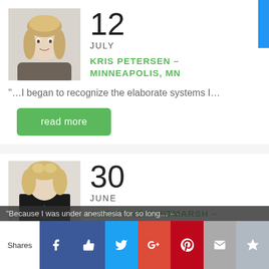[Figure (photo): Headshot of Kris Petersen, blonde woman in gray top, professional portrait]
12
JULY
KRIS PETERSEN – MINNEAPOLIS, MN
"…I began to recognize the elaborate systems I…
read more
[Figure (photo): Christine Whitmarsh holding a black book in front of her face, blonde hair visible]
30
JUNE
CHRISTINE WHITMARSH – RENO, NV
"Because I was under anesthesia for so long…
Shares | Facebook | Like | Twitter | G+ | Pinterest | Mail | Crown